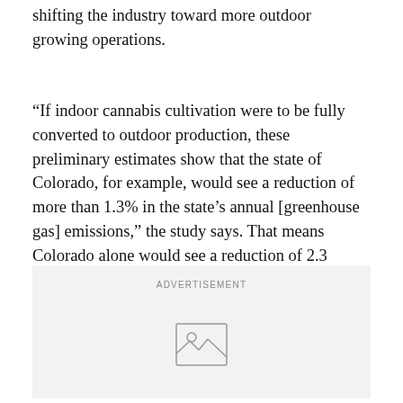shifting the industry toward more outdoor growing operations.
“If indoor cannabis cultivation were to be fully converted to outdoor production, these preliminary estimates show that the state of Colorado, for example, would see a reduction of more than 1.3% in the state’s annual [greenhouse gas] emissions,” the study says. That means Colorado alone would see a reduction of 2.3 million tons of carbon equivalent every year, which the study notes is roughly on par with emission from the state’s entire coal mining sector.
[Figure (other): Advertisement placeholder box with image icon]